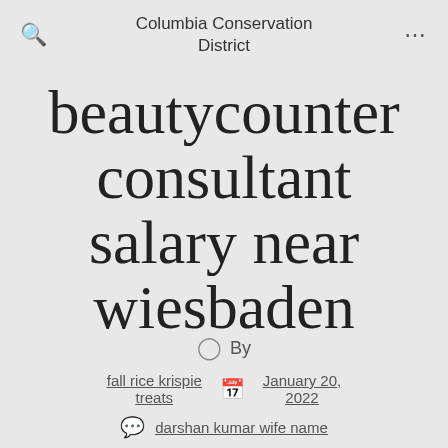Columbia Conservation District
beautycounter consultant salary near wiesbaden
By
fall rice krispie treats   January 20, 2022
darshan kumar wife name